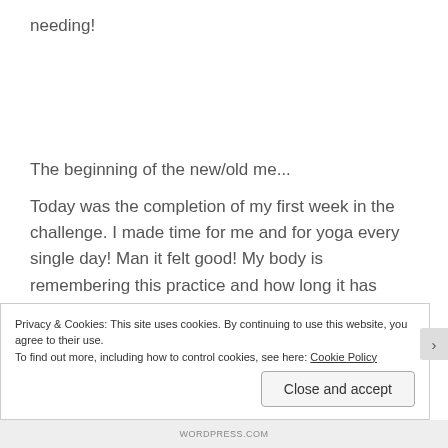needing!
The beginning of the new/old me...
Today was the completion of my first week in the challenge. I made time for me and for yoga every single day! Man it felt good! My body is remembering this practice and how long it has been craving a daily yoga practice! Today I took 10 minutes to meditate after my
Privacy & Cookies: This site uses cookies. By continuing to use this website, you agree to their use.
To find out more, including how to control cookies, see here: Cookie Policy
Close and accept